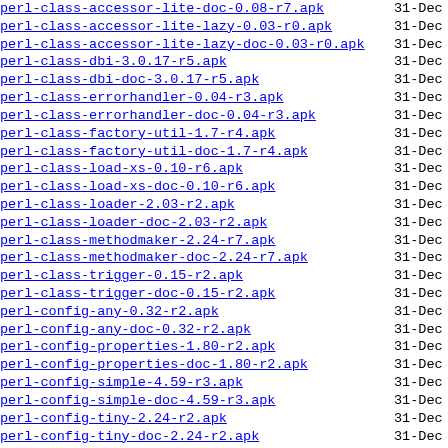perl-class-accessor-lite-doc-0.08-r7.apk  31-Dec
perl-class-accessor-lite-lazy-0.03-r0.apk  31-Dec
perl-class-accessor-lite-lazy-doc-0.03-r0.apk  31-Dec
perl-class-dbi-3.0.17-r5.apk  31-Dec
perl-class-dbi-doc-3.0.17-r5.apk  31-Dec
perl-class-errorhandler-0.04-r3.apk  31-Dec
perl-class-errorhandler-doc-0.04-r3.apk  31-Dec
perl-class-factory-util-1.7-r4.apk  31-Dec
perl-class-factory-util-doc-1.7-r4.apk  31-Dec
perl-class-load-xs-0.10-r6.apk  31-Dec
perl-class-load-xs-doc-0.10-r6.apk  31-Dec
perl-class-loader-2.03-r2.apk  31-Dec
perl-class-loader-doc-2.03-r2.apk  31-Dec
perl-class-methodmaker-2.24-r7.apk  31-Dec
perl-class-methodmaker-doc-2.24-r7.apk  31-Dec
perl-class-trigger-0.15-r2.apk  31-Dec
perl-class-trigger-doc-0.15-r2.apk  31-Dec
perl-config-any-0.32-r2.apk  31-Dec
perl-config-any-doc-0.32-r2.apk  31-Dec
perl-config-properties-1.80-r2.apk  31-Dec
perl-config-properties-doc-1.80-r2.apk  31-Dec
perl-config-simple-4.59-r3.apk  31-Dec
perl-config-simple-doc-4.59-r3.apk  31-Dec
perl-config-tiny-2.24-r2.apk  31-Dec
perl-config-tiny-doc-2.24-r2.apk  31-Dec
perl-convert-pem-0.08-r3.apk  31-Dec
perl-convert-pem-doc-0.08-r3.apk  31-Dec
perl-cookie-baker-0.11-r1.apk  31-Dec
perl-cookie-baker-doc-0.11-r1.apk  31-Dec
perl-crypt-cbc-2.33-r3.apk  31-Dec